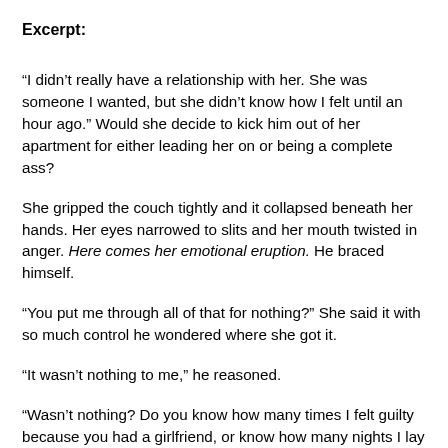Excerpt:
“I didn’t really have a relationship with her. She was someone I wanted, but she didn’t know how I felt until an hour ago.” Would she decide to kick him out of her apartment for either leading her on or being a complete ass?
She gripped the couch tightly and it collapsed beneath her hands. Her eyes narrowed to slits and her mouth twisted in anger. Here comes her emotional eruption. He braced himself.
“You put me through all of that for nothing?” She said it with so much control he wondered where she got it.
“It wasn’t nothing to me,” he reasoned.
“Wasn’t nothing? Do you know how many times I felt guilty because you had a girlfriend, or know how many nights I lay awake imagining I’d